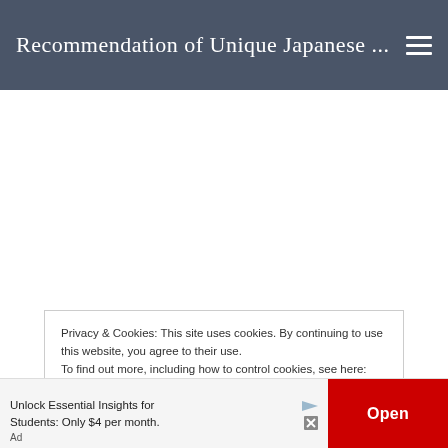Recommendation of Unique Japanese ...
Privacy & Cookies: This site uses cookies. By continuing to use this website, you agree to their use.
To find out more, including how to control cookies, see here: Cookie Policy
Unlock Essential Insights for Students: Only $4 per month.
Ad
Open